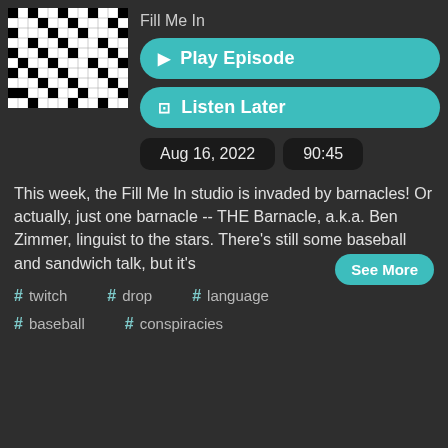[Figure (illustration): Crossword puzzle thumbnail image]
Fill Me In
▶ Play Episode
🔖 Listen Later
Aug 16, 2022
90:45
This week, the Fill Me In studio is invaded by barnacles! Or actually, just one barnacle -- THE Barnacle, a.k.a. Ben Zimmer, linguist to the stars. There's still some baseball and sandwich talk, but it's
See More
# twitch
# drop
# language
# baseball
# conspiracies